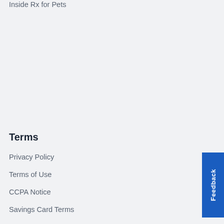Inside Rx for Pets
Discount Restrictions
Drug Recalls
Find a Pharmacy
Pharmacies
Mobile App
Info for Physicians
Resources
Terms
Privacy Policy
Terms of Use
CCPA Notice
Savings Card Terms